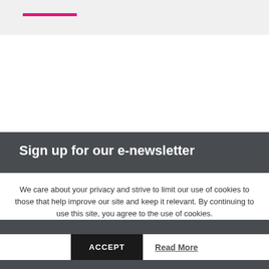Sign up for our e-newsletter
We care about your privacy and strive to limit our use of cookies to those that help improve our site and keep it relevant. By continuing to use this site, you agree to the use of cookies.
ACCEPT
Read More